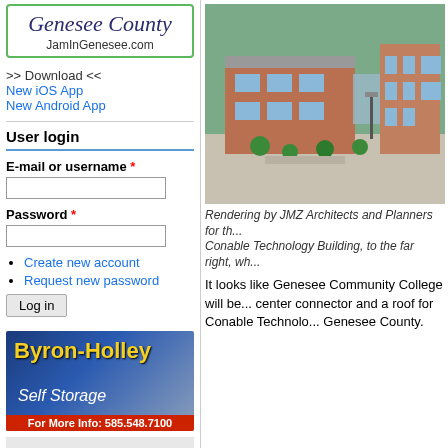[Figure (logo): Genesee County logo with JamInGenesee.com URL in green bordered box]
>> Download <<
New iOS App
New Android App
User login
E-mail or username *
Password *
Create new account
Request new password
Log in
[Figure (illustration): Byron-Holley Self Storage advertisement]
[Figure (illustration): Library children youth adults bar with CLICK HERE]
[Figure (photo): Architectural rendering of Genesee Community College building]
Rendering by JMZ Architects and Planners for th... Conable Technology Building, to the far right, wh...
It looks like Genesee Community College will be... center connector and a roof for Conable Technolo... Genesee County.